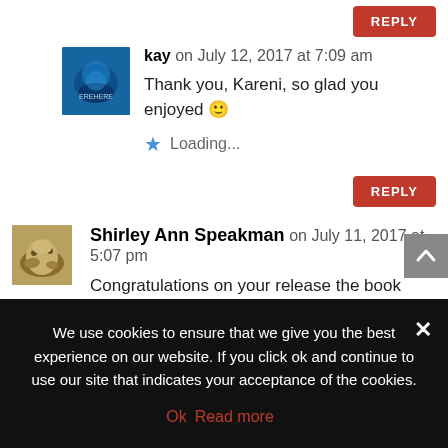REPLY
kay on July 12, 2017 at 7:09 am
Thank you, Kareni, so glad you enjoyed 🙂
Loading...
REPLY
Shirley Ann Speakman on July 11, 2017 at 5:07 pm
Congratulations on your release the book sounds so good I have a thing for Mermen and I'm looking forward to read the series. shirleyann2400 (at) gmail (dot) com
We use cookies to ensure that we give you the best experience on our website. If you click ok and continue to use our site that indicates your acceptance of the cookies.
Ok  Read more